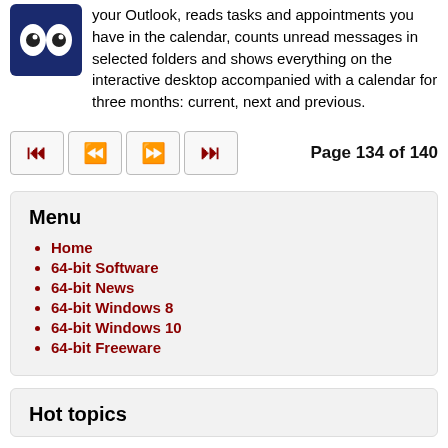your Outlook, reads tasks and appointments you have in the calendar, counts unread messages in selected folders and shows everything on the interactive desktop accompanied with a calendar for three months: current, next and previous.
Page 134 of 140
Menu
Home
64-bit Software
64-bit News
64-bit Windows 8
64-bit Windows 10
64-bit Freeware
Hot topics